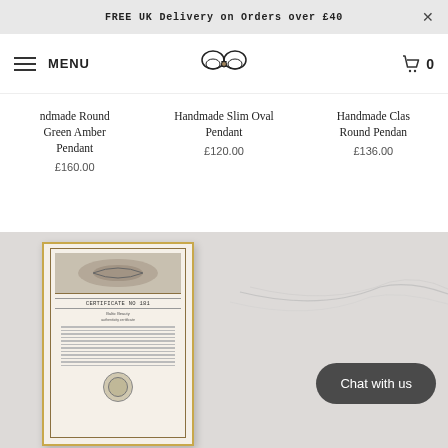FREE UK Delivery on Orders over £40
MENU
Handmade Round Green Amber Pendant
£160.00
Handmade Slim Oval Pendant
£120.00
Handmade Classic Round Pendant
£136.00
[Figure (photo): Certificate of authenticity document with ornate border, text reading CERTIFICATE NO 181, Baltic Beauty, shown on marble surface background with a Chat with us button overlay]